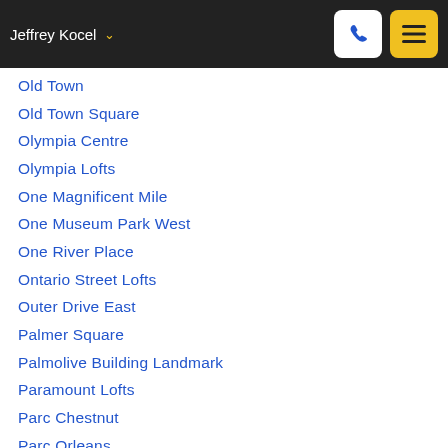Jeffrey Kocel
Old Town
Old Town Square
Olympia Centre
Olympia Lofts
One Magnificent Mile
One Museum Park West
One River Place
Ontario Street Lofts
Outer Drive East
Palmer Square
Palmolive Building Landmark
Paramount Lofts
Parc Chestnut
Parc Orleans
Park 1500 Lofts
Park Alexandria
Park Manor
Park Millennium Condos
Park Newberry